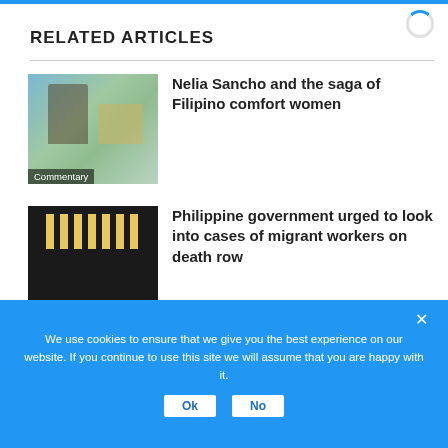RELATED ARTICLES
[Figure (photo): Photo of people near a statue and banners, labeled Commentary]
Nelia Sancho and the saga of Filipino comfort women
[Figure (photo): Photo of candles in dark setting, labeled News]
Philippine government urged to look into cases of migrant workers on death row
[Figure (photo): Photo of people in yellow hazmat suits]
The danger of a nuclear nightmare
We use cookies to ensure that we give you the best experience on our website. If you continue to use this site we will assume that you are happy with it.
Ok   No